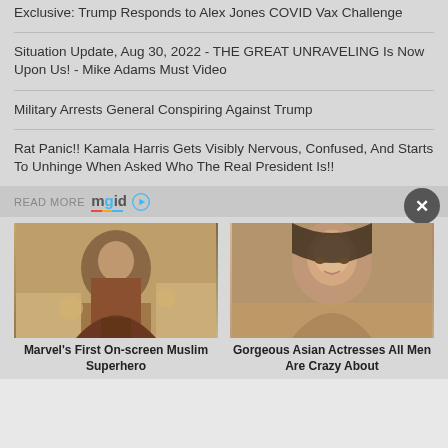Exclusive: Trump Responds to Alex Jones COVID Vax Challenge
Situation Update, Aug 30, 2022 - THE GREAT UNRAVELING Is Now Upon Us! - Mike Adams Must Video
Military Arrests General Conspiring Against Trump
Rat Panic!! Kamala Harris Gets Visibly Nervous, Confused, And Starts To Unhinge When Asked Who The Real President Is!!
READ MORE mgid
[Figure (photo): Marvel's First On-screen Muslim Superhero - promotional image showing a young woman in colorful attire at what appears to be an event venue]
Marvel's First On-screen Muslim Superhero
[Figure (photo): Gorgeous Asian Actresses All Men Are Crazy About - portrait photo of an Asian woman]
Gorgeous Asian Actresses All Men Are Crazy About